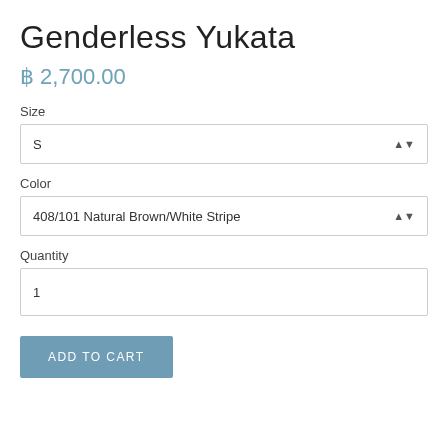Genderless Yukata
฿ 2,700.00
Size
S
Color
408/101 Natural Brown/White Stripe
Quantity
1
ADD TO CART